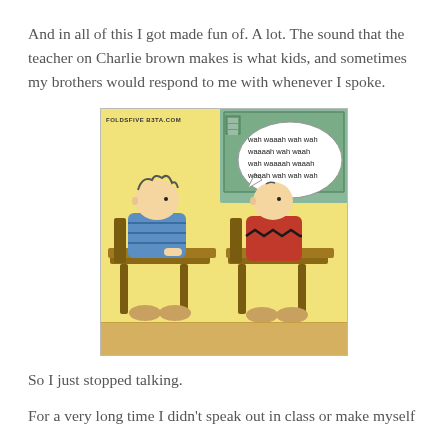And in all of this I got made fun of. A lot. The sound that the teacher on Charlie brown makes is what kids, and sometimes my brothers would respond to me with whenever I spoke.
[Figure (illustration): Charlie Brown Peanuts comic strip showing Linus sitting at a school desk looking at Charlie Brown who has a speech bubble saying 'wah waaah wah wah waaaah wah waah wah waaaah waaah waaah wah wah wah'. Watermark reads FOLDSFIVE B3TA.COM.]
So I just stopped talking.
For a very long time I didn't speak out in class or make myself